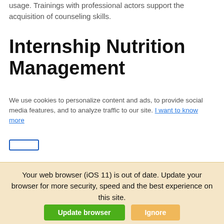usage. Trainings with professional actors support the acquisition of counseling skills.
Internship Nutrition Management
We use cookies to personalize content and ads, to provide social media features, and to analyze traffic to our site. I want to know more
Your web browser (iOS 11) is out of date. Update your browser for more security, speed and the best experience on this site.
Update browser | Ignore